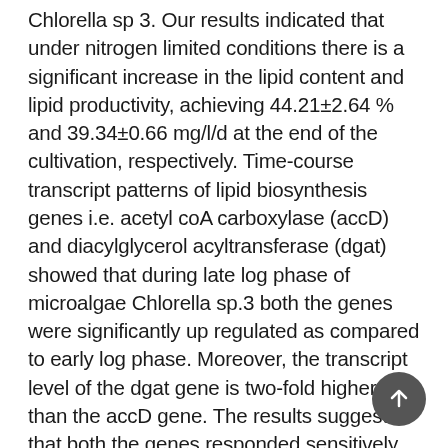Chlorella sp 3. Our results indicated that under nitrogen limited conditions there is a significant increase in the lipid content and lipid productivity, achieving 44.21±2.64 % and 39.34±0.66 mg/l/d at the end of the cultivation, respectively. Time-course transcript patterns of lipid biosynthesis genes i.e. acetyl coA carboxylase (accD) and diacylglycerol acyltransferase (dgat) showed that during late log phase of microalgae Chlorella sp.3 both the genes were significantly up regulated as compared to early log phase. Moreover, the transcript level of the dgat gene is two-fold higher than the accD gene. The results suggested that both the genes responded sensitively to the nitrogen limited conditions during the late log stage, which proposed their close relevance to lipid biosynthesis. Further, this transcriptome data will be useful for engineering microalgae species by targeting these genes for genetic modification to improve